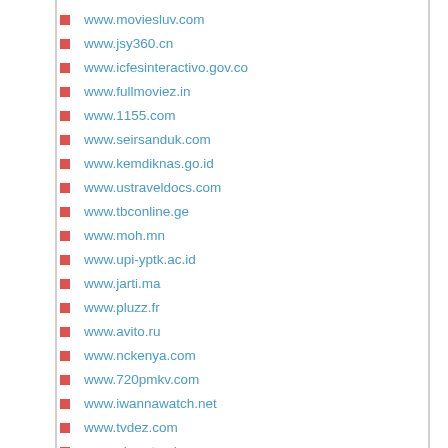www.moviesluv.com
www.jsy360.cn
www.icfesinteractivo.gov.co
www.fullmoviez.in
www.1155.com
www.seirsanduk.com
www.kemdiknas.go.id
www.ustraveldocs.com
www.tbconline.ge
www.moh.mn
www.upi-yptk.ac.id
www.jarti.ma
www.pluzz.fr
www.avito.ru
www.nckenya.com
www.720pmkv.com
www.iwannawatch.net
www.tvdez.com
www.pinoy.tambayan.com